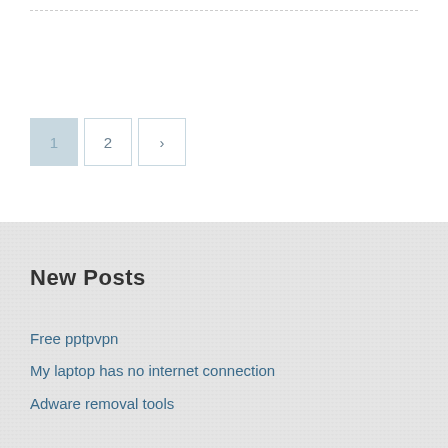[Figure (other): Pagination controls with page 1 (active/highlighted), page 2, and a next arrow button]
New Posts
Free pptpvpn
My laptop has no internet connection
Adware removal tools